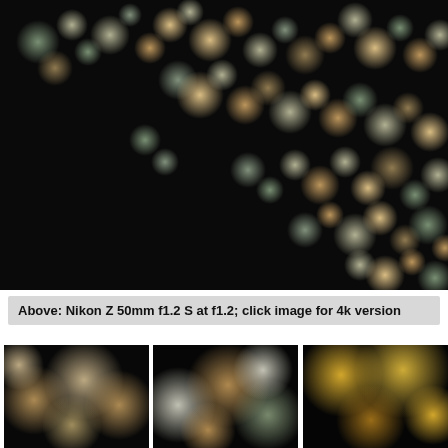[Figure (photo): Bokeh night photography showing colorful out-of-focus light circles (bokeh balls) in orange, green, white and yellow against a very dark/black background, arranged in a diagonal pattern suggesting a city street or highway at night. Shot with Nikon Z 50mm f1.2 S lens at f1.2.]
Above: Nikon Z 50mm f1.2 S at f1.2; click image for 4k version
[Figure (photo): Close-up bokeh thumbnail showing large soft circular bokeh balls in warm orange/brown tones against dark background.]
[Figure (photo): Close-up bokeh thumbnail showing large circular bokeh balls in white, orange and green tones against dark background.]
[Figure (photo): Close-up bokeh thumbnail showing large circular bokeh balls in golden/yellow tones at top against dark background.]